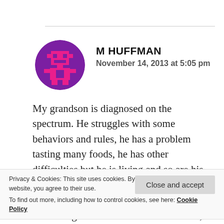[Figure (illustration): Pixel art avatar of a pink robot/character on a purple circular background, used as a user profile photo for M Huffman]
M HUFFMAN
November 14, 2013 at 5:05 pm
My grandson is diagnosed on the spectrum. He struggles with some behaviors and rules, he has a problem tasting many foods, he has other difficulties but he is living and so are his mother, his sister, and our family! We just live differently sometimes. We don't attend the church we
Privacy & Cookies: This site uses cookies. By continuing to use this website, you agree to their use.
To find out more, including how to control cookies, see here: Cookie Policy
Close and accept
wandering off but we live! We have fun, we